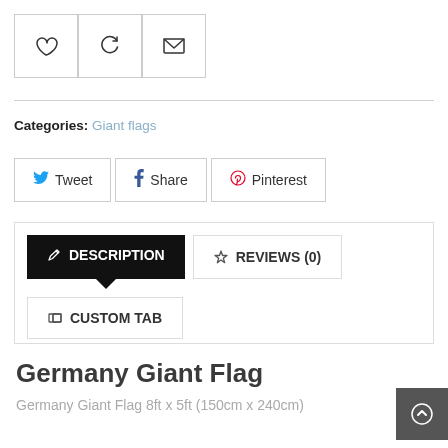[Figure (screenshot): Three icon buttons in a row: heart (favourite), refresh/compare, and envelope (email), each in a square bordered box]
Categories: Giant flags
[Figure (screenshot): Three social sharing buttons: Tweet (Twitter blue bird), Share (Facebook blue f), Pinterest (Pinterest red P icon)]
[Figure (screenshot): Tab navigation with DESCRIPTION tab active (black background, white text, pencil icon), REVIEWS (0) tab inactive, and CUSTOM TAB below]
Germany Giant Flag
Germany Giant Flag 8ft x 5ft (150cm x 240cm)